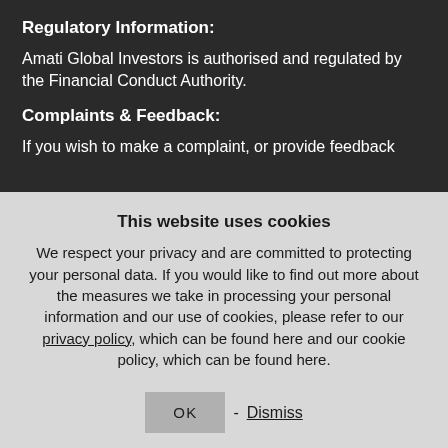Regulatory Information:
Amati Global Investors is authorised and regulated by the Financial Conduct Authority.
Complaints & Feedback:
If you wish to make a complaint, or provide feedback
This website uses cookies
We respect your privacy and are committed to protecting your personal data. If you would like to find out more about the measures we take in processing your personal information and our use of cookies, please refer to our privacy policy, which can be found here and our cookie policy, which can be found here.
OK - Dismiss